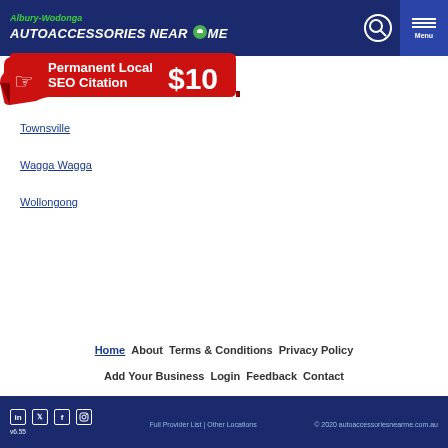Albury-Wodonga AUTOACCESSORIES NEAR ME
[Figure (screenshot): Red banner ad: Permanent Local SEO Citation $10]
Townsville
Wagga Wagga
Wollongong
Home | About | Terms & Conditions | Privacy Policy | Add Your Business | Login | Feedback | Contact
Full Provider List | Other Locations © 2020 autoaccessoriesnearme.com.au v6.55